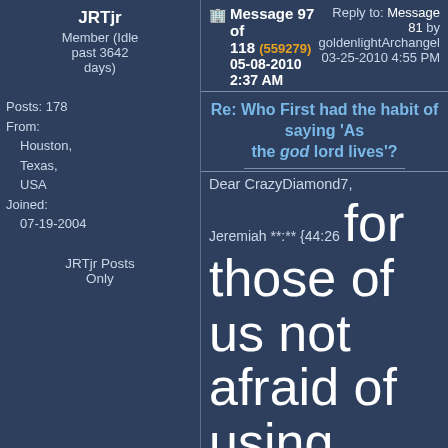JRTjr
Member (Idle past 3642 days)
Posts: 178
From: Houston, Texas, USA
Joined: 07-19-2004
JRTjr Posts Only
Message 97 of 118 (559279) 05-08-2010 2:37 AM | Reply to: Message 81 by goldenlightArchangel 03-25-2010 4:55 PM
Re: Who First had the habit of saying 'As the god lord lives'?
Dear CrazyDiamond7,
Jeremiah **:** {44:26 for those of us not afraid of using a little indexing}, as you quoted from whatever translation of the Bible you are using, gives a perfect example of why modern day Bibles use God, Lord, Elohim, Father, etc in place of 'The Name of the Great Creator'.
In this verse the term god